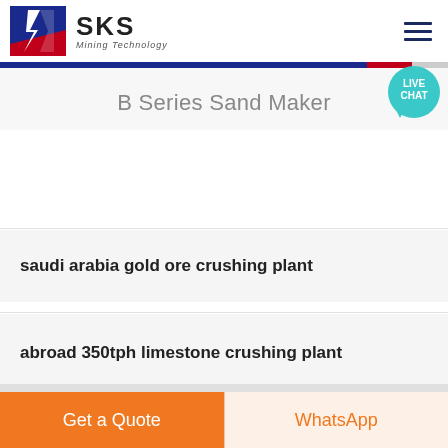SKS Mining Technology
B Series Sand Maker
saudi arabia gold ore crushing plant
abroad 350tph limestone crushing plant
Get a Quote | WhatsApp